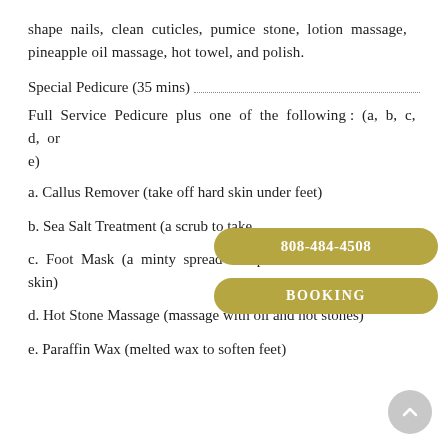shape nails, clean cuticles, pumice stone, lotion massage, pineapple oil massage, hot towel, and polish.
Special Pedicure (35 mins) ....................................................................
Full Service Pedicure plus one of the following : (a, b, c, d, or e)
a. Callus Remover (take off hard skin under feet)
b. Sea Salt Treatment (a scrub to take [overlaid by phone button]
c. Foot Mask (a minty spread to op[en pores and soften] skin)
d. Hot Stone Massage (massage with oil and hot stones)
e. Paraffin Wax (melted wax to soften feet)